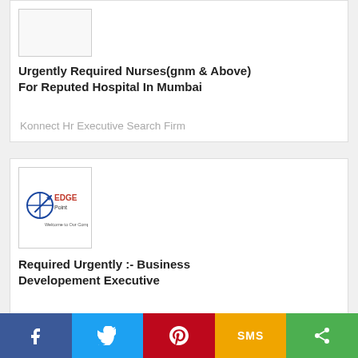[Figure (logo): Company logo placeholder (white box)]
Urgently Required Nurses(gnm & Above) For Reputed Hospital In Mumbai
Konnect Hr Executive Search Firm
[Figure (logo): Edgepoint company logo with red/blue circle graphic and text EDGE Welcome to Our Company]
Required Urgently :- Business Developement Executive
Edgepoint
f  [twitter]  [pinterest]  SMS  [share]